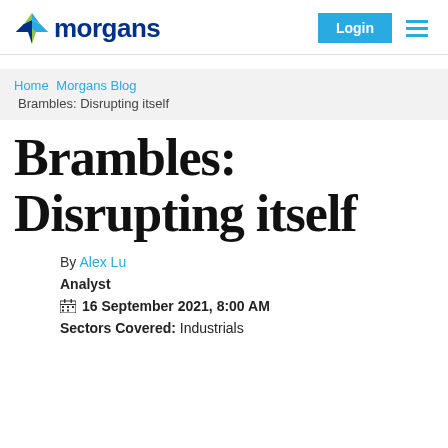Morgans | Login
Home  Morgans Blog
Brambles: Disrupting itself
Brambles: Disrupting itself
By Alex Lu
Analyst
16 September 2021, 8:00 AM
Sectors Covered: Industrials